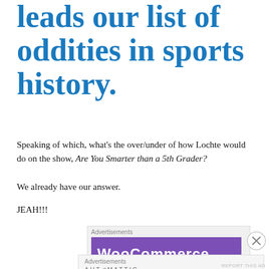leads our list of oddities in sports history.
Speaking of which, what's the over/under of how Lochte would do on the show, Are You Smarter than a 5th Grader?
We already have our answer.
JEAH!!!
I'm sure there are more Ryan Lochte dumb (and dumber) moments that I missed, but like Lochte, I can't seem to remember.
[Figure (screenshot): WooCommerce advertisement banner with purple background and white logo text]
[Figure (screenshot): Automattic advertisement: 'Build a better web and a better world.']